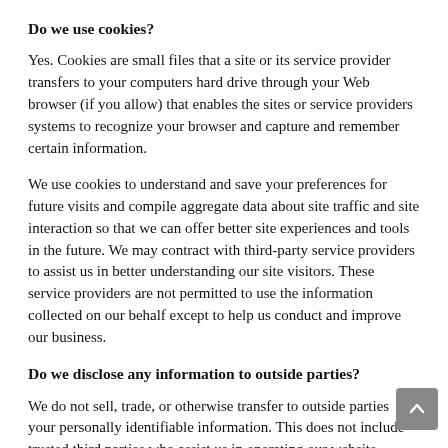Do we use cookies?
Yes. Cookies are small files that a site or its service provider transfers to your computers hard drive through your Web browser (if you allow) that enables the sites or service providers systems to recognize your browser and capture and remember certain information.
We use cookies to understand and save your preferences for future visits and compile aggregate data about site traffic and site interaction so that we can offer better site experiences and tools in the future. We may contract with third-party service providers to assist us in better understanding our site visitors. These service providers are not permitted to use the information collected on our behalf except to help us conduct and improve our business.
Do we disclose any information to outside parties?
We do not sell, trade, or otherwise transfer to outside parties your personally identifiable information. This does not include trusted third parties who assist us in operating our website, conducting our business, or servicing you, so long as those parties agree to keep this information confidential.